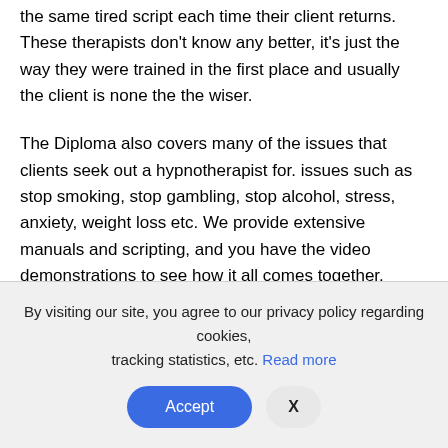the same tired script each time their client returns. These therapists don't know any better, it's just the way they were trained in the first place and usually the client is none the the wiser.
The Diploma also covers many of the issues that clients seek out a hypnotherapist for. issues such as stop smoking, stop gambling, stop alcohol, stress, anxiety, weight loss etc. We provide extensive manuals and scripting, and you have the video demonstrations to see how it all comes together.
By visiting our site, you agree to our privacy policy regarding cookies, tracking statistics, etc. Read more